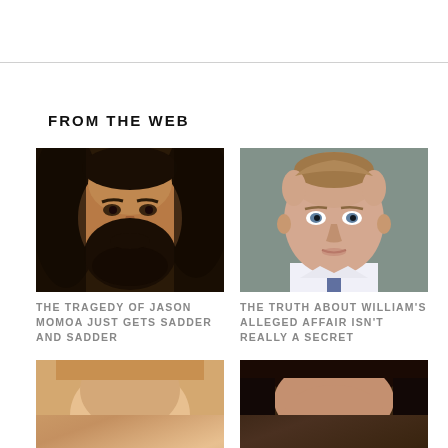FROM THE WEB
[Figure (photo): Close-up portrait of Jason Momoa with long dark hair and full beard]
[Figure (photo): Portrait of Prince William in suit with tie, short hair, serious expression]
THE TRAGEDY OF JASON MOMOA JUST GETS SADDER AND SADDER
THE TRUTH ABOUT WILLIAM'S ALLEGED AFFAIR ISN'T REALLY A SECRET
[Figure (photo): Partial portrait of a person, bottom of page left]
[Figure (photo): Partial portrait of a person with dark hair, bottom of page right]